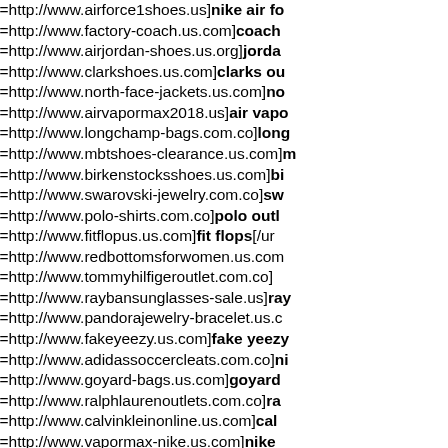[url=http://www.airforce1shoes.us]nike air fo
[url=http://www.factory-coach.us.com]coach
[url=http://www.airjordan-shoes.us.org]jorda
[url=http://www.clarkshoes.us.com]clarks ou
[url=http://www.north-face-jackets.us.com]no
[url=http://www.airvapormax2018.us]air vapo
[url=http://www.longchamp-bags.com.co]long
[url=http://www.mbtshoes-clearance.us.com]m
[url=http://www.birkenstocksshoes.us.com]bi
[url=http://www.swarovski-jewelry.com.co]sw
[url=http://www.polo-shirts.com.co]polo outl
[url=http://www.fitflopus.us.com]fit flops[/ur
[url=http://www.redbottomsforwomen.us.com
[url=http://www.tommyhilfigeroutlet.com.co]
[url=http://www.raybansunglasses-sale.us]ray
[url=http://www.pandorajewelry-bracelet.us.c
[url=http://www.fakeyeezy.us.com]fake yeezy
[url=http://www.adidassoccercleats.com.co]ni
[url=http://www.goyard-bags.us.com]goyard
[url=http://www.ralphlaurenoutlets.com.co]ra
[url=http://www.calvinkleinonline.us.com]cal
[url=http://www.vapormax-nike.us.com]nike
[url=http://www.tommyhilfigeroutletonline.us